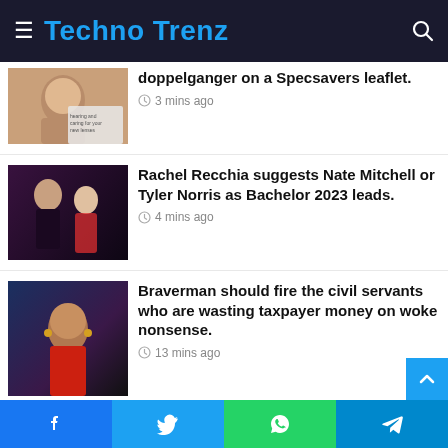Techno Trenz
doppelganger on a Specsavers leaflet. · 3 mins ago
Rachel Recchia suggests Nate Mitchell or Tyler Norris as Bachelor 2023 leads. · 4 mins ago
Braverman should fire the civil servants who are wasting taxpayer money on woke nonsense. · 13 mins ago
'Under Most Pressure,' says Celtics star Jaylen Brown. · 14 mins ago
Facebook · Twitter · WhatsApp · Telegram